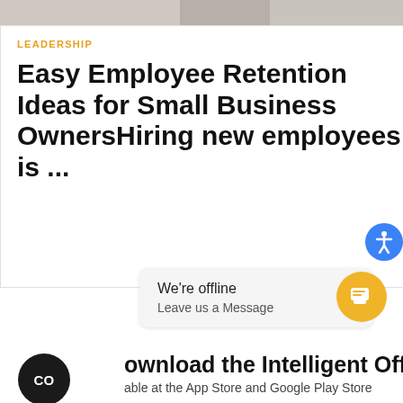[Figure (photo): Partial photo strip at top of page showing office/desk scene]
LEADERSHIP
Easy Employee Retention Ideas for Small Business OwnersHiring new employees is ...
[Figure (infographic): Blue circular accessibility button with person icon on right side]
[Figure (infographic): Chat widget popup showing 'We're offline / Leave us a Message' with yellow chat button]
Download the Intelligent Office App
Available at the App Store and Google Play Store